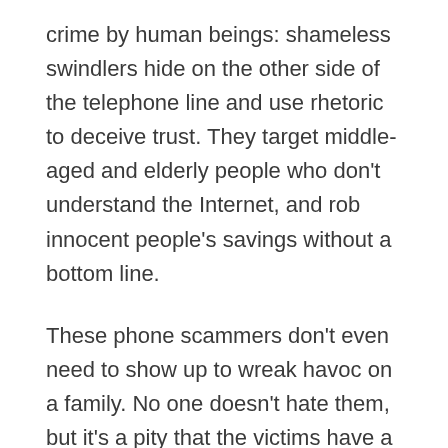crime by human beings: shameless swindlers hide on the other side of the telephone line and use rhetoric to deceive trust. They target middle-aged and elderly people who don't understand the Internet, and rob innocent people's savings without a bottom line.
These phone scammers don't even need to show up to wreak havoc on a family. No one doesn't hate them, but it's a pity that the victims have a hard time dealing with them.
This is because most telecommunications scams are committed across borders.